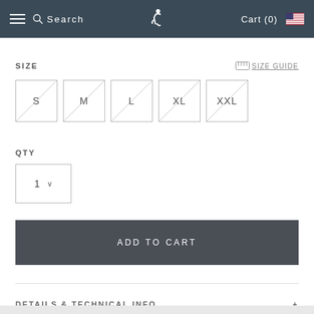☰  🔍 Search  [runner icon]  Cart (0)  [US flag]
SIZE
SIZE GUIDE
S  M  L  XL  XXL
QTY
1 ∨
ADD TO CART
DETAILS & TECHNICAL INFO
SHIPPING & RETURNS